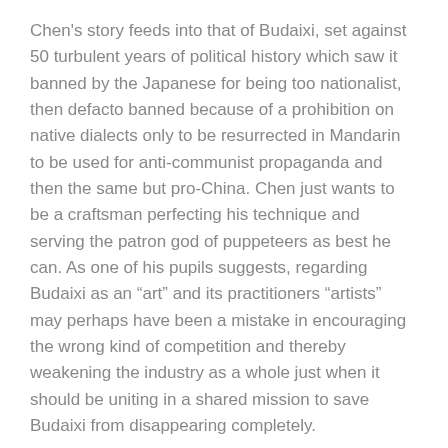Chen's story feeds into that of Budaixi, set against 50 turbulent years of political history which saw it banned by the Japanese for being too nationalist, then defacto banned because of a prohibition on native dialects only to be resurrected in Mandarin to be used for anti-communist propaganda and then the same but pro-China. Chen just wants to be a craftsman perfecting his technique and serving the patron god of puppeteers as best he can. As one of his pupils suggests, regarding Budaixi as an “art” and its practitioners “artists” may perhaps have been a mistake in encouraging the wrong kind of competition and thereby weakening the industry as a whole just when it should be uniting in a shared mission to save Budaixi from disappearing completely.
Chen too struggles to emerge from his father’s shadow, perhaps gripping on too tightly to traditional Budaixi while rejecting its progeny in the burgeoning world of contemporary puppet theatre. Nevertheless, he was able to become a master of the art and to pass his knowledge on to a new generation committed to